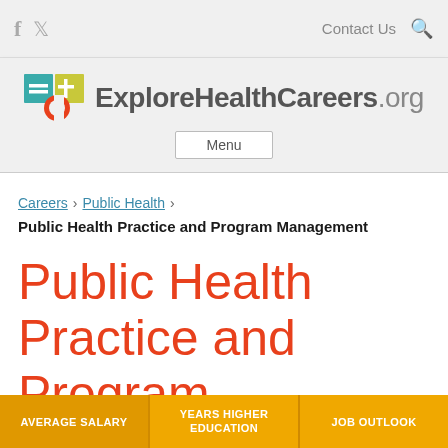f  [twitter]  Contact Us  [search]
[Figure (logo): ExploreHealthCareers.org logo with stylized E+C icon in teal and orange, followed by text 'ExploreHealthCareers.org' and a Menu button below]
Careers › Public Health ›
Public Health Practice and Program Management
Public Health Practice and Program Management
| AVERAGE SALARY | YEARS HIGHER EDUCATION | JOB OUTLOOK |
| --- | --- | --- |